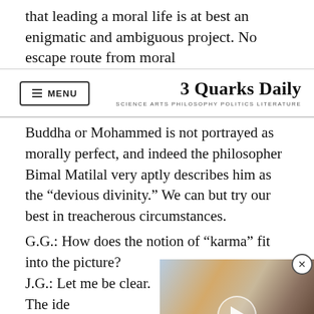that leading a moral life is at best an enigmatic and ambiguous project. No escape route from moral
MENU   3 Quarks Daily  SCIENCE ARTS PHILOSOPHY POLITICS LITERATURE
Buddha or Mohammed is not portrayed as morally perfect, and indeed the philosopher Bimal Matilal very aptly describes him as the “devious divinity.” We can but try our best in treacherous circumstances.
G.G.: How does the notion of “karma” fit into the picture?
J.G.: Let me be clear. The idea of karma is that human action has consequen[ces...] claim that every human actio[n...] So the idea of karma does no[t...] outlook on life, according to
[Figure (screenshot): A video player overlay showing a planetary/space image (resembling Jupiter's surface with swirling orange and brown clouds) with a circular play button in the center. A close button (X) appears at the top right of the video overlay.]